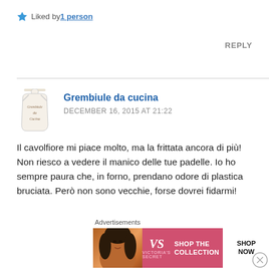Liked by 1 person
REPLY
Grembiule da cucina
DECEMBER 16, 2015 AT 21:22
Il cavolfiore mi piace molto, ma la frittata ancora di più! Non riesco a vedere il manico delle tue padelle. Io ho sempre paura che, in forno, prendano odore di plastica bruciata. Però non sono vecchie, forse dovrei fidarmi!
[Figure (infographic): Victoria's Secret advertisement banner with model photo, VS logo, 'SHOP THE COLLECTION' text and 'SHOP NOW' button]